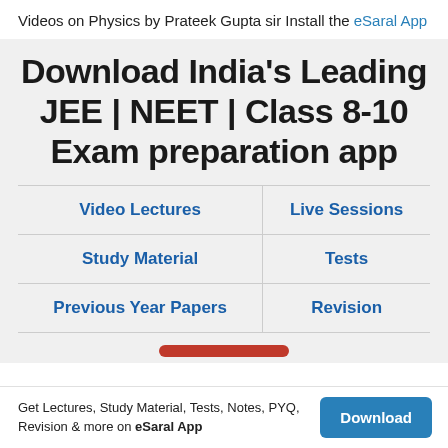Videos on Physics by Prateek Gupta sir Install the eSaral App
Download India's Leading JEE | NEET | Class 8-10 Exam preparation app
| Video Lectures | Live Sessions |
| Study Material | Tests |
| Previous Year Papers | Revision |
Get Lectures, Study Material, Tests, Notes, PYQ, Revision & more on eSaral App